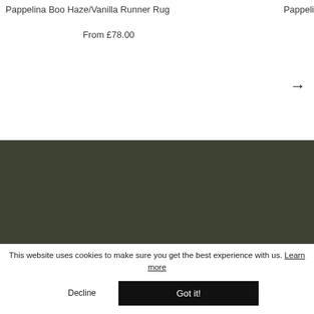Pappelina Boo Haze/Vanilla Runner Rug
Pappeli
From £78.00
[Figure (other): Right arrow navigation icon]
[Figure (logo): Circular logo with person/figure icon on cream background]
[Figure (other): Social media icons: Facebook, Twitter, Pinterest, Instagram on dark green footer]
This website uses cookies to make sure you get the best experience with us. Learn more
Decline
Got it!